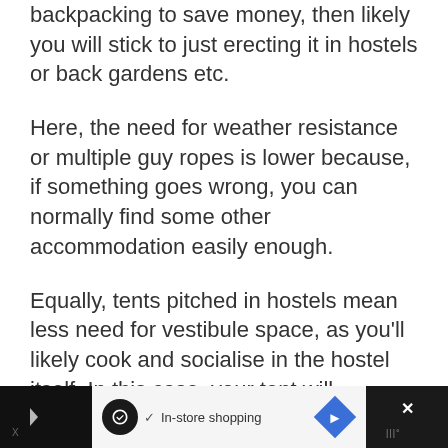backpacking to save money, then likely you will stick to just erecting it in hostels or back gardens etc.
Here, the need for weather resistance or multiple guy ropes is lower because, if something goes wrong, you can normally find some other accommodation easily enough.
Equally, tents pitched in hostels mean less need for vestibule space, as you'll likely cook and socialise in the hostel itself. In this case, your tent will probably just be
[Figure (other): Advertisement bar at bottom of page showing In-store shopping ad with icons and X close button]